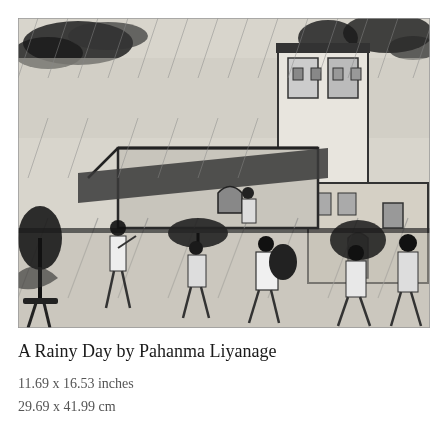[Figure (illustration): A black and white painting titled 'A Rainy Day by Pahanma Liyanage'. The painting depicts a rainy street scene with multiple figures — children and adults — walking in the rain under umbrellas. Buildings including a multi-story structure are visible in the background. The style is expressive and painterly, using dark brushstrokes against a light background to convey rain, movement, and atmosphere.]
A Rainy Day by Pahanma Liyanage
11.69 x 16.53 inches
29.69 x 41.99 cm